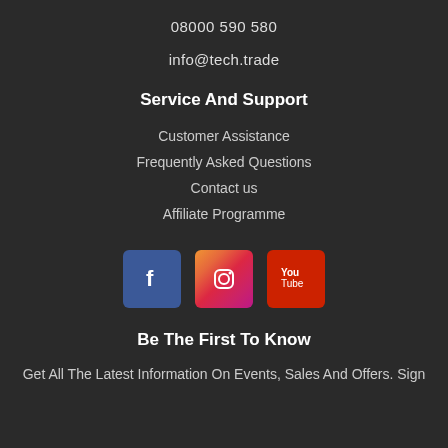08000 590 580
info@tech.trade
Service And Support
Customer Assistance
Frequently Asked Questions
Contact us
Affiliate Programme
[Figure (illustration): Social media icons: Facebook (blue), Instagram (gradient orange-pink), YouTube (red)]
Be The First To Know
Get All The Latest Information On Events, Sales And Offers. Sign